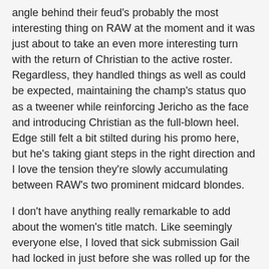angle behind their feud's probably the most interesting thing on RAW at the moment and it was just about to take an even more interesting turn with the return of Christian to the active roster. Regardless, they handled things as well as could be expected, maintaining the champ's status quo as a tweener while reinforcing Jericho as the face and introducing Christian as the full-blown heel. Edge still felt a bit stilted during his promo here, but he's taking giant steps in the right direction and I love the tension they're slowly accumulating between RAW's two prominent midcard blondes.
I don't have anything really remarkable to add about the women's title match. Like seemingly everyone else, I loved that sick submission Gail had locked in just before she was rolled up for the pinfall, and I like the majority of the faces they're pushing in this division at the moment. Nidia's in gimmick limbo, and really needs to get away from whatever the hell she was wearing last night.
Likewise, I couldn't focus on the main event. It's surprising to note how quickly Eugene's become just an afterthought on the RAW roster, as he was in completely over his head